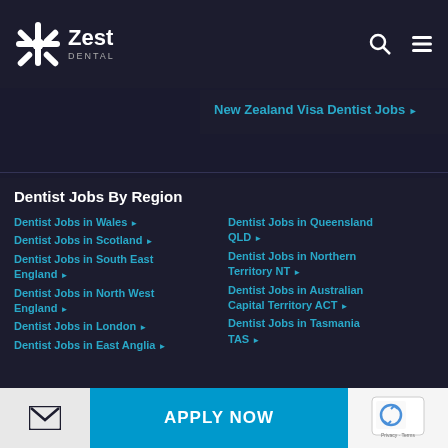Zest Dental
New Zealand Visa Dentist Jobs ▶
Dentist Jobs By Region
Dentist Jobs in Wales ▶
Dentist Jobs in Scotland ▶
Dentist Jobs in South East England ▶
Dentist Jobs in North West England ▶
Dentist Jobs in London ▶
Dentist Jobs in East Anglia ▶
Dentist Jobs in Queensland QLD ▶
Dentist Jobs in Northern Territory NT ▶
Dentist Jobs in Australian Capital Territory ACT ▶
Dentist Jobs in Tasmania TAS ▶
APPLY NOW